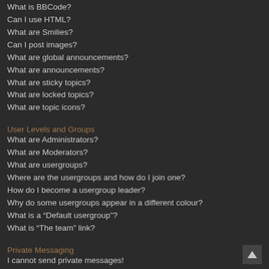What is BBCode?
Can I use HTML?
What are Smilies?
Can I post images?
What are global announcements?
What are announcements?
What are sticky topics?
What are locked topics?
What are topic icons?
User Levels and Groups
What are Administrators?
What are Moderators?
What are usergroups?
Where are the usergroups and how do I join one?
How do I become a usergroup leader?
Why do some usergroups appear in a different colour?
What is a “Default usergroup”?
What is “The team” link?
Private Messaging
I cannot send private messages!
I keep getting unwanted private messages!
I have received a spamming or abusive email from someone on this board!
Friends and Foes
What are my Friends and Foes lists?
How can I add / remove users to my Friends or Foes list?